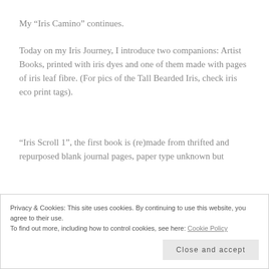My “Iris Camino” continues.
Today on my Iris Journey, I introduce two companions: Artist Books, printed with iris dyes and one of them made with pages of iris leaf fibre. (For pics of the Tall Bearded Iris, check iris eco print tags).
“Iris Scroll 1”, the first book is (re)made from thrifted and repurposed blank journal pages, paper type unknown but
Privacy & Cookies: This site uses cookies. By continuing to use this website, you agree to their use.
To find out more, including how to control cookies, see here: Cookie Policy
Close and accept